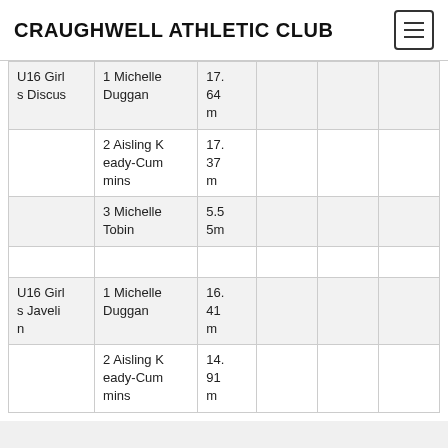CRAUGHWELL ATHLETIC CLUB
| Event | Place/Name | Result |  |  |  |
| --- | --- | --- | --- | --- | --- |
| U16 Girls Discus | 1 Michelle Duggan | 17.64 m |  |  |  |
|  | 2 Aisling Keady-Cummins | 17.37 m |  |  |  |
|  | 3 Michelle Tobin | 5.55m |  |  |  |
|  |  |  |  |  |  |
| U16 Girls Javelin | 1 Michelle Duggan | 16.41 m |  |  |  |
|  | 2 Aisling Keady-Cummins | 14.91 m |  |  |  |